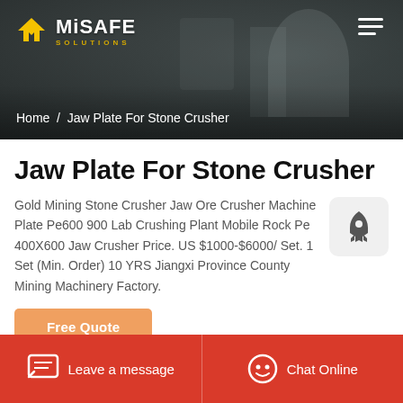[Figure (screenshot): MiSafe Solutions website header with industrial machinery background, logo, hamburger menu, and breadcrumb navigation]
Home / Jaw Plate For Stone Crusher
Jaw Plate For Stone Crusher
Gold Mining Stone Crusher Jaw Ore Crusher Machine Plate Pe600 900 Lab Crushing Plant Mobile Rock Pe 400X600 Jaw Crusher Price. US $1000-$6000/ Set. 1 Set (Min. Order) 10 YRS Jiangxi Province County Mining Machinery Factory.
Free Quote